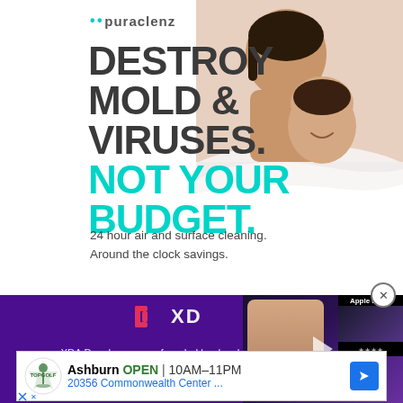[Figure (infographic): Puraclenz advertisement with logo, bold headline 'DESTROY MOLD & VIRUSES. NOT YOUR BUDGET.' in dark and teal colors, subtext '24 hour air and surface cleaning. Around the clock savings.' and a photo of a mother and child on white bedding.]
[Figure (screenshot): XDA Developers website screenshot with purple background, XDA logo, body text about XDA Developers being founded by developers, and an overlaid video thumbnail showing 'DAILY.' with Apple Event content and a person's face.]
[Figure (infographic): Topgolf Ashburn advertisement: OPEN | 10AM-11PM, 20356 Commonwealth Center ..., with Topgolf logo and blue navigation arrow icon.]